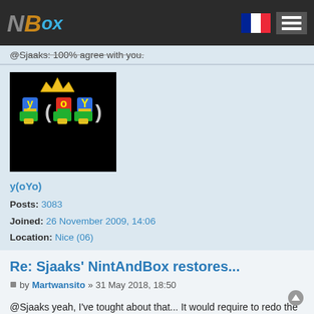NBox
@Sjaaks: 100% agree with you.
[Figure (photo): y(oYo) user avatar logo on black background with colorful block letters]
y(oYo)
Posts: 3083
Joined: 26 November 2009, 14:06
Location: Nice (06)
Re: Sjaaks' NintAndBox restores...
by Martwansito » 31 May 2018, 18:50
@Sjaaks yeah, I've tought about that... It would require to redo the same work twice.
Perhaps the site needs to set up some system to store PSD files...